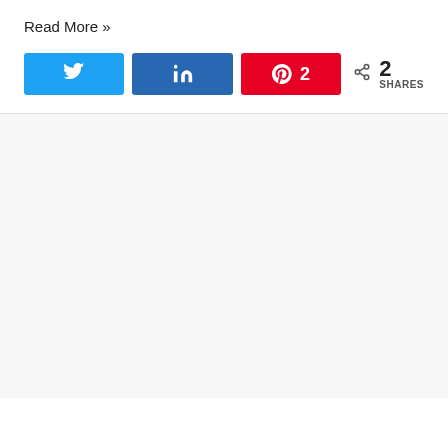Read More »
[Figure (infographic): Social share buttons: Twitter (blue), LinkedIn (dark blue), Pinterest with count 2 (red), and share icon with '2 SHARES' text]
2 SHARES